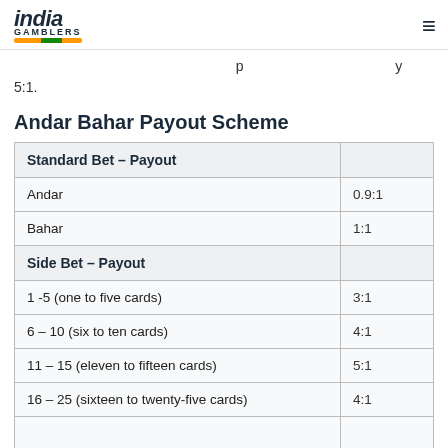india GAMBLERS
5:1.
Andar Bahar Payout Scheme
| Standard Bet – Payout |  |
| --- | --- |
| Andar | 0.9:1 |
| Bahar | 1:1 |
| Side Bet – Payout |  |
| 1 -5 (one to five cards) | 3:1 |
| 6 – 10 (six to ten cards) | 4:1 |
| 11 – 15 (eleven to fifteen cards) | 5:1 |
| 16 – 25 (sixteen to twenty-five cards) | 4:1 |